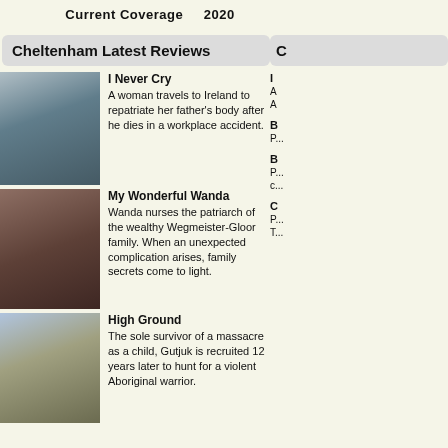Current Coverage    2020
Cheltenham Latest Reviews
I Never Cry
A woman travels to Ireland to repatriate her father's body after he dies in a workplace accident.
My Wonderful Wanda
Wanda nurses the patriarch of the wealthy Wegmeister-Gloor family. When an unexpected complication arises, family secrets come to light.
High Ground
The sole survivor of a massacre as a child, Gutjuk is recruited 12 years later to hunt for a violent Aboriginal warrior.